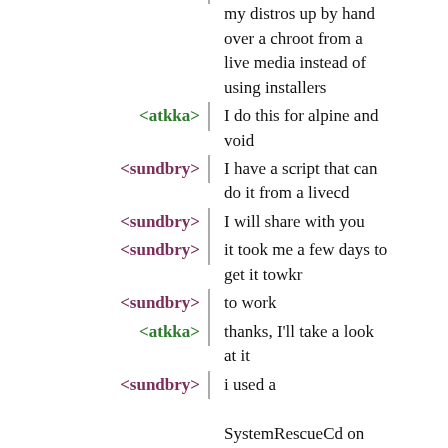my distros up by hand over a chroot from a live media instead of using installers
<atkka> I do this for alpine and void
<sundbry> I have a script that can do it from a livecd
<sundbry> I will share with you
<sundbry> it took me a few days to get it towkr
<sundbry> to work
<atkka> thanks, I'll take a look at it
<sundbry> i used a SystemRescueCd on